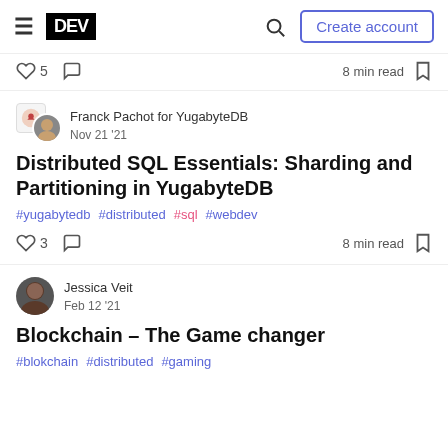DEV | Create account
5  8 min read
Franck Pachot for YugabyteDB
Nov 21 '21
Distributed SQL Essentials: Sharding and Partitioning in YugabyteDB
#yugabytedb  #distributed  #sql  #webdev
3  8 min read
Jessica Veit
Feb 12 '21
Blockchain – The Game changer
#blokchain  #distributed  #gaming